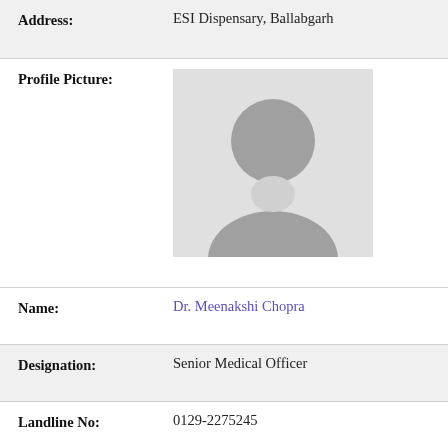Address: ESI Dispensary, Ballabgarh
[Figure (photo): Placeholder profile picture avatar with grey background showing generic silhouette]
Name: Dr. Meenakshi Chopra
Designation: Senior Medical Officer
Landline No: 0129-2275245
Mobile No: 9810221288
Address: ESI Dispensary No. 1 Sector 27-B Faridabad
[Figure (photo): Placeholder profile picture avatar with grey background showing generic silhouette (partially visible)]